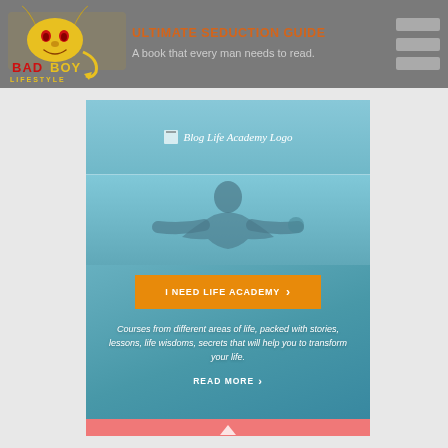ULTIMATE SEDUCTION GUIDE
A book that every man needs to read.
[Figure (logo): BadBoy Lifestyle logo - yellow devil horns and tail with red and yellow text]
[Figure (screenshot): Blog Life Academy logo image placeholder]
[Figure (photo): Person with arms outstretched against teal/blue sky background]
I NEED LIFE ACADEMY
Courses from different areas of life, packed with stories, lessons, life wisdoms, secrets that will help you to transform your life.
READ MORE